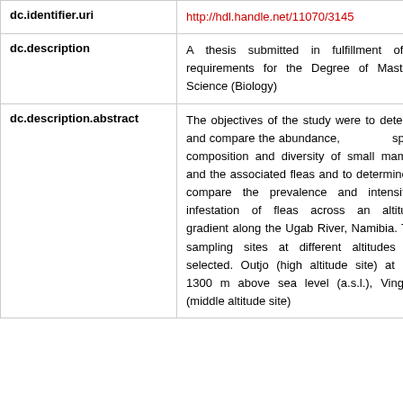| Field | Value |
| --- | --- |
| dc.identifier.uri | http://hdl.handle.net/11070/3145 |
| dc.description | A thesis submitted in fulfillment of the requirements for the Degree of Master of Science (Biology) |
| dc.description.abstract | The objectives of the study were to determine and compare the abundance, species composition and diversity of small mammals and the associated fleas and to determine and compare the prevalence and intensity of infestation of fleas across an altitudinal gradient along the Ugab River, Namibia. Three sampling sites at different altitudes were selected. Outjo (high altitude site) at about 1300 m above sea level (a.s.l.), Vingerklip (middle altitude site) |